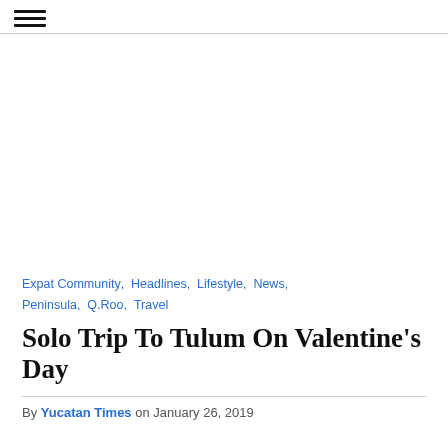☰ (hamburger menu icon)
Expat Community,  Headlines,  Lifestyle,  News,  Peninsula,  Q.Roo,  Travel
Solo Trip To Tulum On Valentine's Day
By Yucatan Times on January 26, 2019